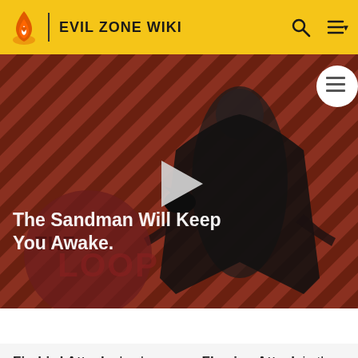EVIL ZONE WIKI
[Figure (screenshot): Video thumbnail for 'The Sandman Will Keep You Awake - The Loop' showing a dark figure in black robes against a red and black diagonal striped background, with a play button overlay and 'THE LOOP' watermark text.]
The Sandman Will Keep You Awake - The Loop  01:40
attack by spinning with her sword and hitting her opponent multiple times.
Firebird Attack also known as Flaming Attack in the